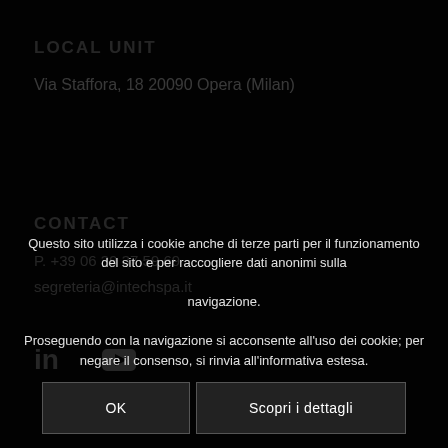LOCAL UNIT
Via Staffora, 18 20090 Opera (Milan)
CONTACT
P. +39 06 39 37 59 69
segreteria@intechspa.it
[Figure (illustration): LinkedIn and YouTube social media icons in grey on dark background]
Questo sito utilizza i cookie anche di terze parti per il funzionamento del sito e per raccogliere dati anonimi sulla navigazione.

Proseguendo con la navigazione si acconsente all'uso dei cookie; per negare il consenso, si rinvia all'informativa estesa.